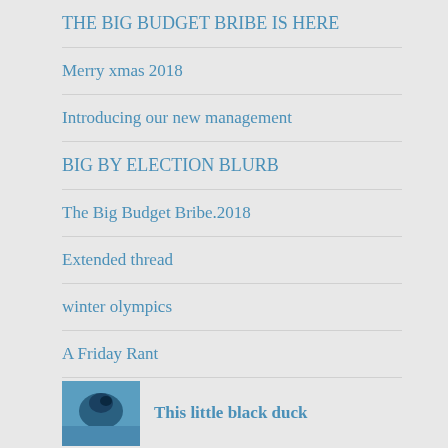THE BIG BUDGET BRIBE IS HERE
Merry xmas 2018
Introducing our new management
BIG BY ELECTION BLURB
The Big Budget Bribe.2018
Extended thread
winter olympics
A Friday Rant
[Figure (photo): Small thumbnail image with blue tones, possibly a bird or duck]
This little black duck